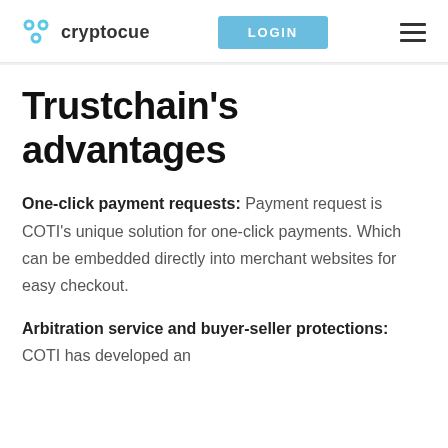cryptocue | LOGIN
Trustchain's advantages
One-click payment requests: Payment request is COTI's unique solution for one-click payments. Which can be embedded directly into merchant websites for easy checkout.
Arbitration service and buyer-seller protections: COTI has developed an